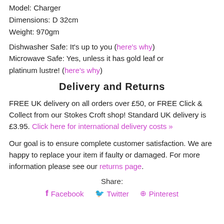Model: Charger
Dimensions: D 32cm
Weight: 970gm
Dishwasher Safe: It's up to you (here's why)
Microwave Safe: Yes, unless it has gold leaf or platinum lustre! (here's why)
Delivery and Returns
FREE UK delivery on all orders over £50, or FREE Click & Collect from our Stokes Croft shop! Standard UK delivery is £3.95. Click here for international delivery costs »
Our goal is to ensure complete customer satisfaction. We are happy to replace your item if faulty or damaged. For more information please see our returns page.
Share:
Facebook  Twitter  Pinterest